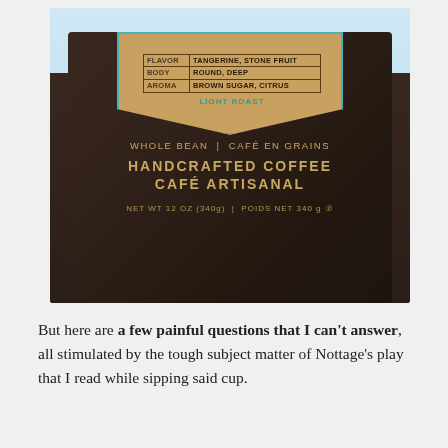[Figure (photo): Photo of a dark brown coffee bag with a tan/burlap-style label. The label shows a table with FLAVOR: TANGERINE, STONE FRUIT; BODY: ROUND, DEEP; AROMA: BROWN SUGAR, CITRUS. Below the table it reads LIGHT ROAST in teal text. The bag text reads: WHOLE BEAN | CAFÉ EN GRAINS, HANDCRAFTED COFFEE, CAFÉ ARTISANAL, NET WT 12 OZ (340g) | POIDS NET 340 g]
But here are a few painful questions that I can't answer, all stimulated by the tough subject matter of Nottage's play that I read while sipping said cup.